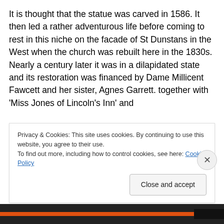It is thought that the statue was carved in 1586. It then led a rather adventurous life before coming to rest in this niche on the facade of St Dunstans in the West when the church was rebuilt here in the 1830s. Nearly a century later it was in a dilapidated state and its restoration was financed by Dame Millicent Fawcett and her sister, Agnes Garrett. together with 'Miss Jones of Lincoln's Inn' and
Privacy & Cookies: This site uses cookies. By continuing to use this website, you agree to their use.
To find out more, including how to control cookies, see here: Cookie Policy
Close and accept